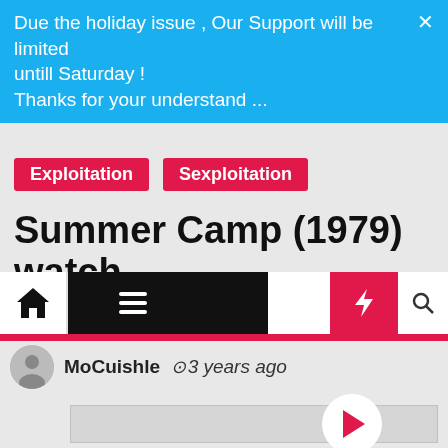Due the holiday issue , Our Support will be limited untill Saturday !
Thanks for your understand ...
Exploitation
Sexploitation
Summer Camp (1979) watch
[Figure (screenshot): Navigation bar with home, hamburger menu, dark mode, lightning bolt (red), and search icons]
MoCuishle  🕐 3 years ago
[Figure (screenshot): Video thumbnail area with play button overlay]